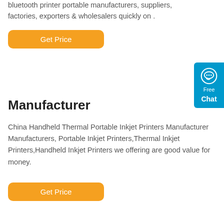bluetooth printer portable manufacturers, suppliers, factories, exporters & wholesalers quickly on .
[Figure (other): Orange 'Get Price' button (top)]
Manufacturer
China Handheld Thermal Portable Inkjet Printers Manufacturer Manufacturers, Portable Inkjet Printers,Thermal Inkjet Printers,Handheld Inkjet Printers we offering are good value for money.
[Figure (other): Orange 'Get Price' button (bottom)]
[Figure (other): Blue 'Free Chat' widget on right side]